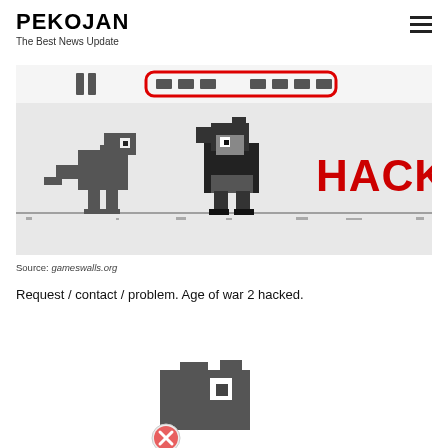PEKOJAN
The Best News Update
[Figure (screenshot): Screenshot of a browser-based dinosaur running game with 'HACKS!' displayed in large red bold text. A pixel-art dinosaur and a pixel-art Sonic character are shown on a grey ground line. The top shows game UI elements with score/obstacles.]
Source: gameswalls.org
Request / contact / problem. Age of war 2 hacked.
[Figure (screenshot): Partial screenshot showing a pixel-art dinosaur character (dark grey) at the bottom of the page, partially cropped.]